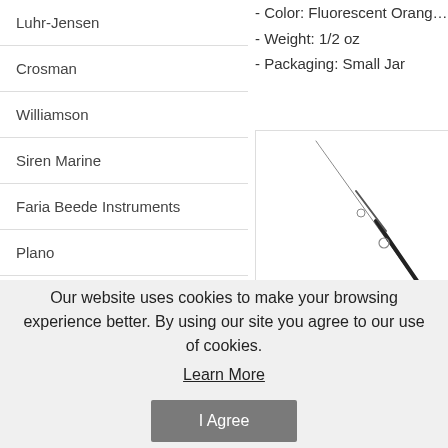Luhr-Jensen
Crosman
Williamson
Siren Marine
Faria Beede Instruments
Plano
Lowrance
- Color: Fluorescent Orange
- Weight: 1/2 oz
- Packaging: Small Jar
[Figure (photo): A fishing rod shown diagonally, black and white, with guide rings visible]
Our website uses cookies to make your browsing experience better. By using our site you agree to our use of cookies. Learn More
I Agree